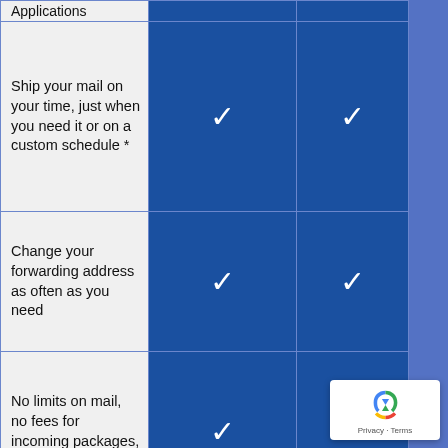| Features | Plan A | Plan B |
| --- | --- | --- |
| Applications |  |  |
| Ship your mail on your time, just when you need it or on a custom schedule * | ✓ | ✓ |
| Change your forwarding address as often as you need | ✓ | ✓ |
| No limits on mail, no fees for incoming packages, and no storage fees | ✓ | ✓ |
| Automatic email |  |  |